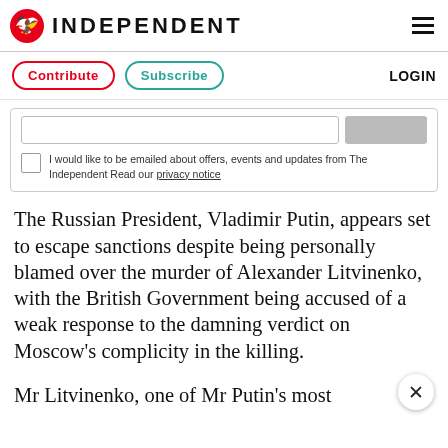INDEPENDENT
Contribute  Subscribe  LOGIN
I would like to be emailed about offers, events and updates from The Independent Read our privacy notice
The Russian President, Vladimir Putin, appears set to escape sanctions despite being personally blamed over the murder of Alexander Litvinenko, with the British Government being accused of a weak response to the damning verdict on Moscow's complicity in the killing.
Mr Litvinenko, one of Mr Putin's most